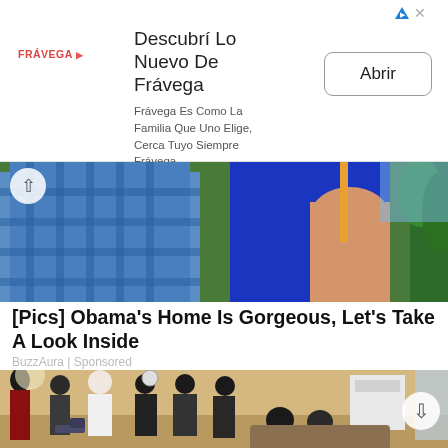[Figure (screenshot): Fravega advertisement banner with logo, tagline 'Descubrí Lo Nuevo De Frávega', subtitle 'Frávega Es Como La Familia Que Uno Elige, Cerca Tuyo Siempre Frávega', and 'Abrir' button]
[Figure (photo): Cropped photo showing people outdoors, woman in blue dress and man in blue checked shirt, green trees in background]
[Pics] Obama's Home Is Gorgeous, Let's Take A Look Inside
BuzzAura | Sponsored
[Figure (photo): Interior photo of a living room with several people in traditional African attire standing and sitting]
ADVERTISEMENT
[Figure (screenshot): Erie Insurance advertisement: Complete A Quote - Finish a quote and discover how an ERIE insurance policy can help protect your car. Open button.]